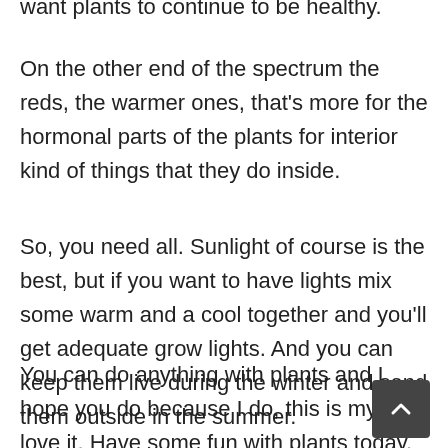want plants to continue to be healthy.
On the other end of the spectrum the reds, the warmer ones, that's more for the hormonal parts of the plants for interior kind of things that they do inside.
So, you need all. Sunlight of course is the best, but if you want to have lights mix some warm and a cool together and you'll get adequate grow lights. And you can keep them live during the winter and send them outside in the summer.
You can do anything with plants and I hope you do because I do, this is my life I love it. Have some fun with plants today.